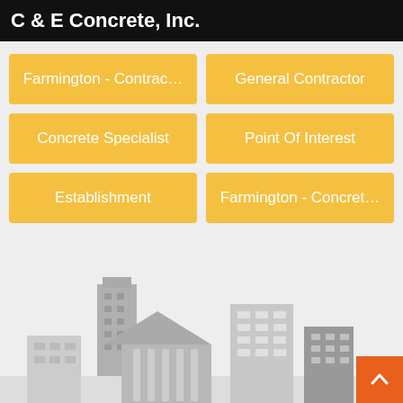C & E Concrete, Inc.
Farmington - Contrac…
General Contractor
Concrete Specialist
Point Of Interest
Establishment
Farmington - Concret…
[Figure (illustration): Gray city skyline silhouette illustration showing buildings of various heights with windows and architectural details]